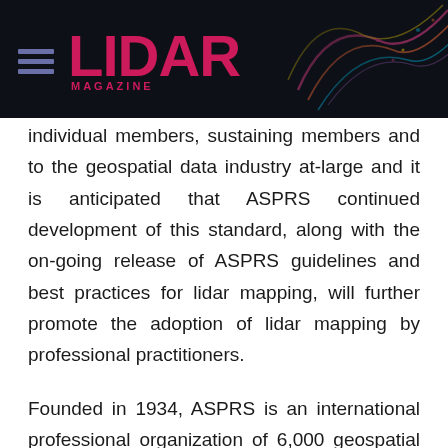LIDAR MAGAZINE
individual members, sustaining members and to the geospatial data industry at-large and it is anticipated that ASPRS continued development of this standard, along with the on-going release of ASPRS guidelines and best practices for lidar mapping, will further promote the adoption of lidar mapping by professional practitioners.
Founded in 1934, ASPRS is an international professional organization of 6,000 geospatial data professionals. ASPRS is devoted to advancing knowledge and improving understanding of the mapping sciences to promote responsible application of photogrammetry, remote sensing,